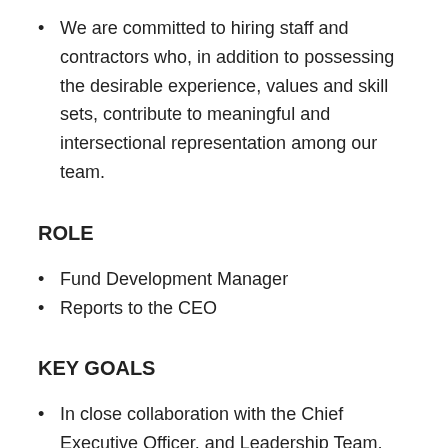We are committed to hiring staff and contractors who, in addition to possessing the desirable experience, values and skill sets, contribute to meaningful and intersectional representation among our team.
ROLE
Fund Development Manager
Reports to the CEO
KEY GOALS
In close collaboration with the Chief Executive Officer, and Leadership Team, the Fund Development Manager will implement the Fund Development Plan to diversify the organization's